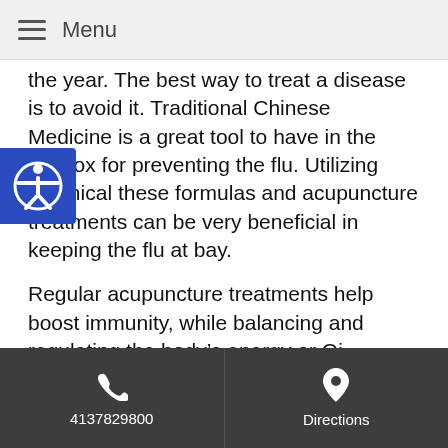Menu
the year. The best way to treat a disease is to avoid it. Traditional Chinese Medicine is a great tool to have in the toolbox for preventing the flu. Utilizing botanical these formulas and acupuncture treatments can be very beneficial in keeping the flu at bay.
Regular acupuncture treatments help boost immunity, while balancing and regulating the body's energy or Qi (pronounced “chee”). Several studies have shown acupuncture can reduce the incidence of upper respiratory tract infections and shorten the length of time that somebody is ill.
TCM botanicals or herbs are also a great way to ward off the flu bug. Two herbs in particular are specified for strengthening Qi and boosting the immune system. The
4137829800   Directions